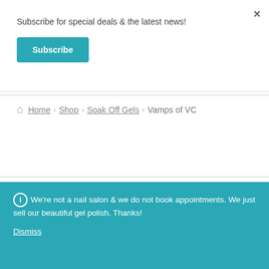×
Subscribe for special deals & the latest news!
Subscribe
Home › Shop › Soak Off Gels › Vamps of VC
ⓘ We're not a nail salon & we do not book appointments. We just sell our beautiful gel polish. Thanks!
Dismiss
[Figure (photo): Product images of gel nail polish bottles partially visible at bottom]